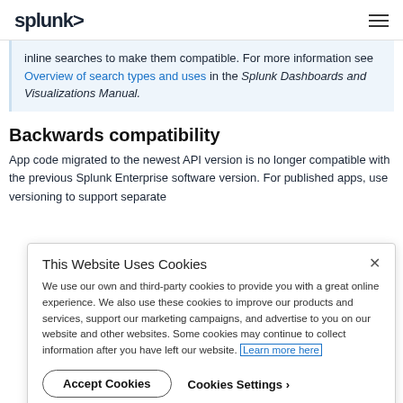splunk>
inline searches to make them compatible. For more information see Overview of search types and uses in the Splunk Dashboards and Visualizations Manual.
Backwards compatibility
App code migrated to the newest API version is no longer compatible with the previous Splunk Enterprise software version. For published apps, use versioning to support separate
This Website Uses Cookies
We use our own and third-party cookies to provide you with a great online experience. We also use these cookies to improve our products and services, support our marketing campaigns, and advertise to you on our website and other websites. Some cookies may continue to collect information after you have left our website. Learn more here
Accept Cookies
Cookies Settings ›